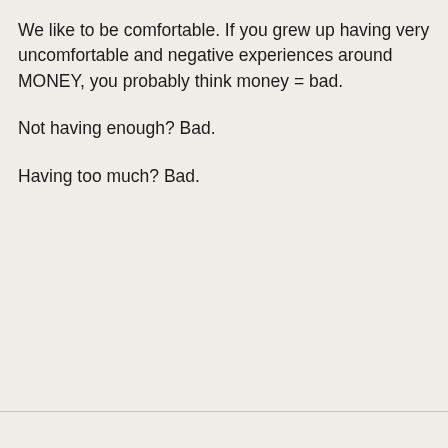We like to be comfortable. If you grew up having very uncomfortable and negative experiences around MONEY, you probably think money = bad.
Not having enough? Bad.
Having too much? Bad.